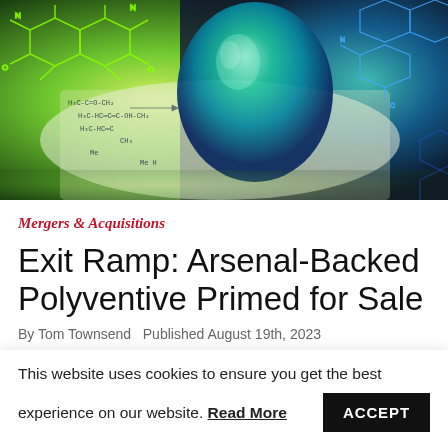[Figure (photo): Overhead photo of a green liquid droplet on chemistry paper with structural formulas, overlaid with glowing blue and green molecular diagram illustrations]
Mergers & Acquisitions
Exit Ramp: Arsenal-Backed Polyventive Primed for Sale
By Tom Townsend Published August 19th, 2023
This website uses cookies to ensure you get the best experience on our website. Read More  ACCEPT